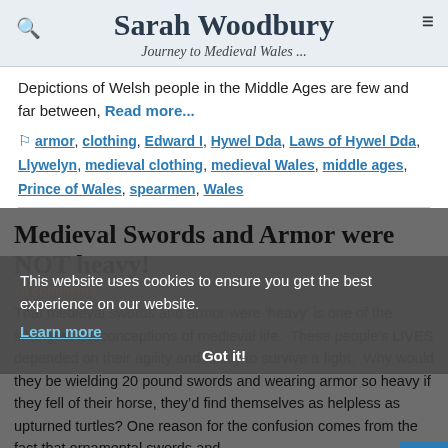Sarah Woodbury — Journey to Medieval Wales ...
Depictions of Welsh people in the Middle Ages are few and far between, Read more...
armor, clothing, Edward I, Hywel Dda, Laws of Hywel Dda, Llywelyn, medieval clothing, medieval Wales, middle ages, Prince of Wales, spearmen, Wales
Medieval Swords and Armor were NOT heavy!
This website uses cookies to ensure you get the best experience on our website. Learn more  Got it!
That medieval swords and armor were 'heavy' is one of the strangest misconceptions of medieval life. These people's LIVES depended on their agility and ability to survive a fight. Why would they be wielding 20 pound swords and wearing armor so heavy if they fell of their horse, they'd find themselves as helpless as upturned turtles? One reason for the confusion comes from the fact that ornamental swords and